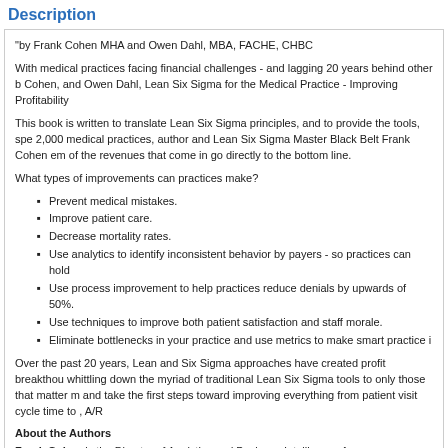Description
"by Frank Cohen MHA and Owen Dahl, MBA, FACHE, CHBC
With medical practices facing financial challenges - and lagging 20 years behind other b Cohen, and Owen Dahl, Lean Six Sigma for the Medical Practice - Improving Profitability
This book is written to translate Lean Six Sigma principles, and to provide the tools, spe 2,000 medical practices, author and Lean Six Sigma Master Black Belt Frank Cohen em of the revenues that come in go directly to the bottom line.
What types of improvements can practices make?
Prevent medical mistakes.
Improve patient care.
Decrease mortality rates.
Use analytics to identify inconsistent behavior by payers - so practices can hold
Use process improvement to help practices reduce denials by upwards of 50%.
Use techniques to improve both patient satisfaction and staff morale.
Eliminate bottlenecks in your practice and use metrics to make smart practice i
Over the past 20 years, Lean and Six Sigma approaches have created profit breakthou whittling down the myriad of traditional Lean Six Sigma tools to only those that matter m and take the first steps toward improving everything from patient visit cycle time to , A/R
About the Authors
Frank Cohen is the Director of Analytics and Business Intelligence for DoctorsManagem expertise include data mining, predictive analytics, applied statistics, process improveme numerous articles and studies, as well as having trained thousands of physicians, admir
Owen J. Dahl, MBA, FACHE, CHBC, is a nationally-known speaker and independent M of a $75 million practice with 65 physicians, to academician developing certification prog Business! book, his latest book is Lean Six Sigma for the Medical Practice, with co-auth Greenbranch Publishing.